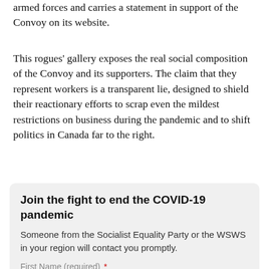armed forces and carries a statement in support of the Convoy on its website.
This rogues' gallery exposes the real social composition of the Convoy and its supporters. The claim that they represent workers is a transparent lie, designed to shield their reactionary efforts to scrap even the mildest restrictions on business during the pandemic and to shift politics in Canada far to the right.
Join the fight to end the COVID-19 pandemic
Someone from the Socialist Equality Party or the WSWS in your region will contact you promptly.
First Name (required) *